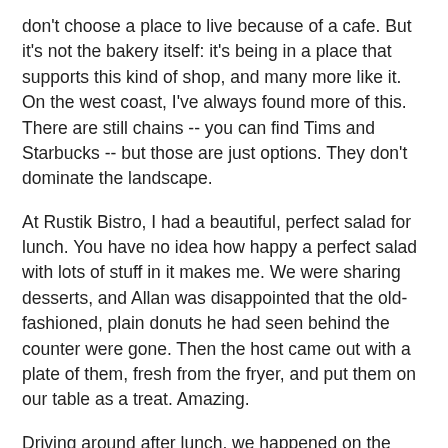don't choose a place to live because of a cafe. But it's not the bakery itself: it's being in a place that supports this kind of shop, and many more like it. On the west coast, I've always found more of this. There are still chains -- you can find Tims and Starbucks -- but those are just options. They don't dominate the landscape.
At Rustik Bistro, I had a beautiful, perfect salad for lunch. You have no idea how happy a perfect salad with lots of stuff in it makes me. We were sharing desserts, and Allan was disappointed that the old-fashioned, plain donuts he had seen behind the counter were gone. Then the host came out with a plate of them, fresh from the fryer, and put them on our table as a treat. Amazing.
Driving around after lunch, we happened on the Nellie McClung branch of the Greater Victoria Public Library -- a lovely, small branch full of natural light. There are rental buildings nearby, what appears to be an abundance of public transit, and it's not very far from downtown Victoria... where perhaps Allan could work. (For non-Canadians reading, Nellie McClung is Canada's Susan B. Anthony. I never